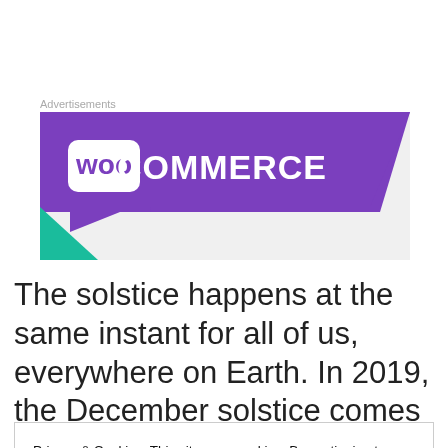Advertisements
[Figure (logo): WooCommerce advertisement banner with purple speech-bubble shape and teal triangle corner, white WooCommerce logo text on purple background]
The solstice happens at the same instant for all of us, everywhere on Earth. In 2019, the December solstice comes on December 21 at
Privacy & Cookies: This site uses cookies. By continuing to use this website, you agree to their use.
To find out more, including how to control cookies, see here: Cookie Policy
Close and accept